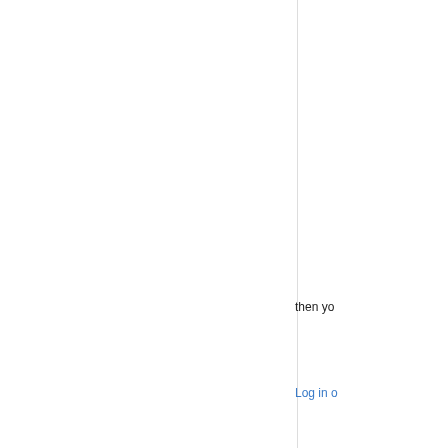then yo
Log in o
[Figure (illustration): Generic user avatar icon - a stylized person with brown hair and blue clothing on a light background]
kaari
Sun, 2022/06/05 - 07:48
Permalink
[Figure (photo): Photo of a person in white traditional clothing]
try to i